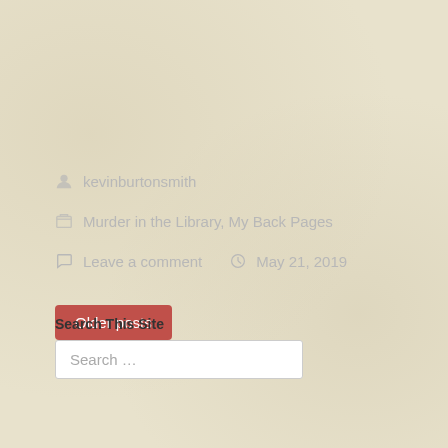kevinburtonsmith
Murder in the Library, My Back Pages
Leave a comment   May 21, 2019
Older posts
Search This Site
Search ...